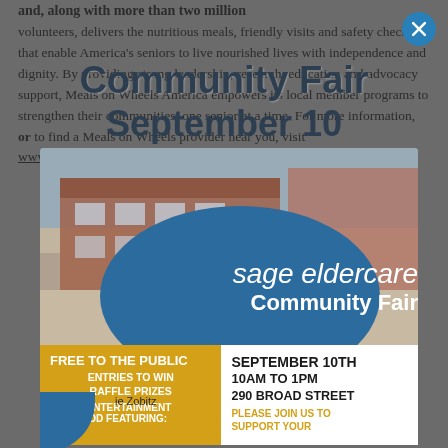and, along with more than two million volunteers, delivers the nutritious meals, friendly visits and safety checks that enable America's seniors to live nourished lives with independence and dignity. By providing strong leadership, research, education and advocacy support, Meals on Wheels America empowers its local member programs to strengthen their communities, one senior at a time. For more information, or to find a Meals on Wheels provider near you, visit www.mealsonwheelsamerica.org.
Community Fair
September 10
[Figure (photo): Photo of a brick building (Sage Eldercare facility) with a blue circular overlay and the text 'sage eldercare Community Fair']
FREE TO THE PUBLIC
ENTRIES TO WIN RAFFLE PRIZES
ENJOY ENTERTAINMENT AND FOOD FEATURING:
SEPTEMBER 10TH
10AM TO 1PM
290 BROAD STREET
PLEASE JOIN US TO SUPPORT YOUR